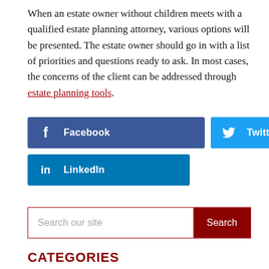When an estate owner without children meets with a qualified estate planning attorney, various options will be presented. The estate owner should go in with a list of priorities and questions ready to ask. In most cases, the concerns of the client can be addressed through estate planning tools.
[Figure (infographic): Social media share buttons for Facebook, Twitter, and LinkedIn]
Search our site
CATEGORIES